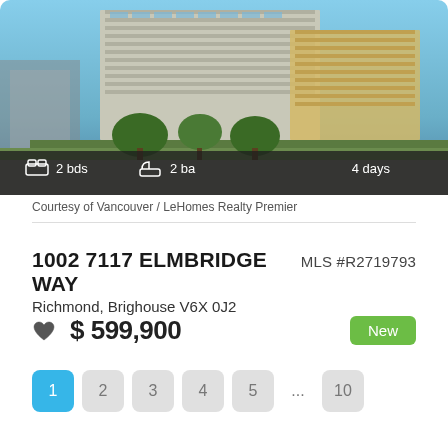[Figure (photo): Exterior photo of a modern multi-story condominium building with glass balconies and yellow/cream facade panels, blue sky background, trees in foreground. Stats overlay: 2 bds, 2 ba, 4 days.]
Courtesy of Vancouver / LeHomes Realty Premier
1002 7117 ELMBRIDGE WAY
MLS #R2719793
Richmond, Brighouse V6X 0J2
$ 599,900
New
1 2 3 4 5 ... 10